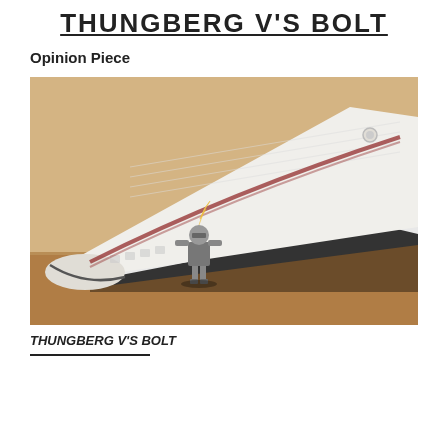THUNGBERG V'S BOLT
Opinion Piece
[Figure (photo): A small Playmobil or LEGO knight figurine holding up a massive white sneaker (Converse-style) from underneath, as if supporting its weight. The photo is taken at ground level with a warm brown wooden floor background.]
THUNGBERG V'S BOLT